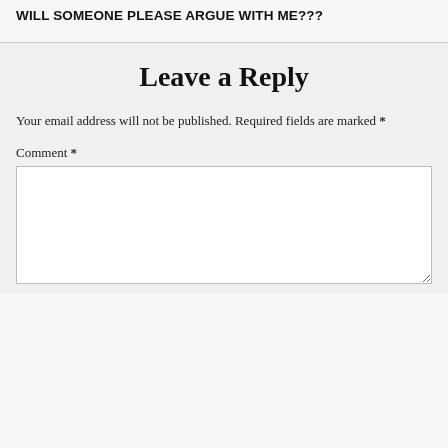WILL SOMEONE PLEASE ARGUE WITH ME???
Leave a Reply
Your email address will not be published. Required fields are marked *
Comment *